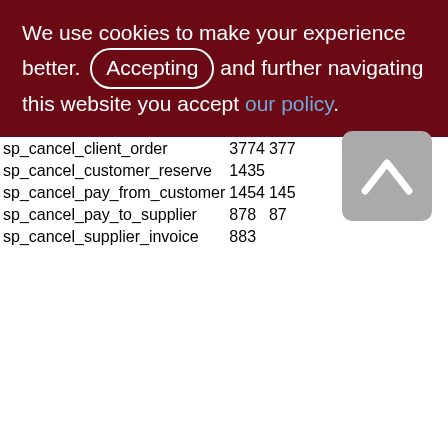We use cookies to make your experience better. By Accepting and further navigating this website you accept our policy.
|  | col1 | col2 |
| --- | --- | --- |
| sp_cancel_client_order | 3774 | 377 |
| sp_cancel_customer_reserve | 1435 |  |
| sp_cancel_pay_from_customer | 1454 | 145 |
| sp_cancel_pay_to_supplier | 878 | 87 |
| sp_cancel_supplier_invoice | 883 |  |